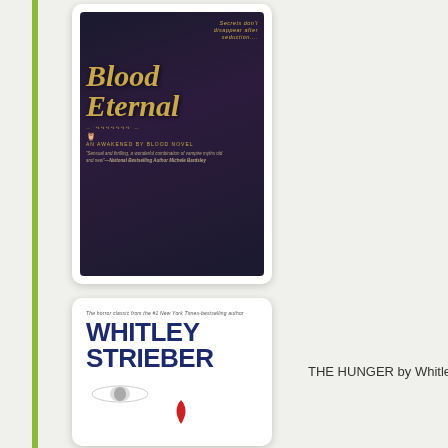[Figure (illustration): Book cover for 'Blood Eternal' - An Awakened by Blood Novel. Dark background with woman's silhouette, gold ornate script title, tagline 'Secrets don't disappear after seduction....', publisher owl logo, series label, and quote from National Bestselling Author Michele Bardsley.]
[Figure (illustration): Book cover for a Whitley Strieber novel (The Hunger). White background with large dark blue bold author name 'WHITLEY STRIEBER', top text 'The horror classic from the #1 New York Times-bestselling author', a woman's face/eye visible at bottom, and red teardrop/lip shape.]
THE HUNGER by Whitley Strieb